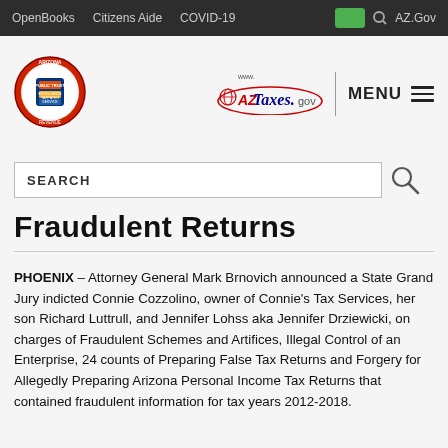OpenBooks   Citizens Aide   COVID-19   AZ.Gov
[Figure (logo): Arizona Department of Revenue circular seal logo]
[Figure (logo): www.AZTaxes.gov logo with ellipse]
SEARCH
Fraudulent Returns
PHOENIX – Attorney General Mark Brnovich announced a State Grand Jury indicted Connie Cozzolino, owner of Connie's Tax Services, her son Richard Luttrull, and Jennifer Lohss aka Jennifer Drziewicki, on charges of Fraudulent Schemes and Artifices, Illegal Control of an Enterprise, 24 counts of Preparing False Tax Returns and Forgery for Allegedly Preparing Arizona Personal Income Tax Returns that contained fraudulent information for tax years 2012-2018.